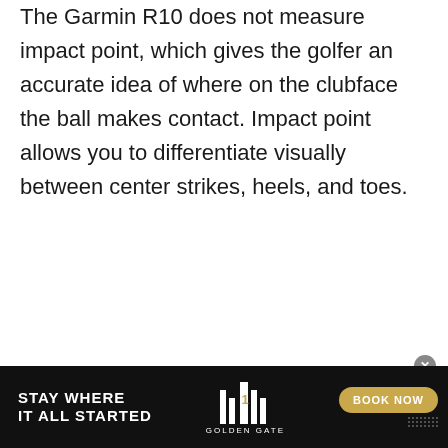The Garmin R10 does not measure impact point, which gives the golfer an accurate idea of where on the clubface the ball makes contact. Impact point allows you to differentiate visually between center strikes, heels, and toes.
[Figure (other): Yellow/cream colored advertisement placeholder rectangle]
[Figure (other): Black banner advertisement for Golden Gate hotel with text 'STAY WHERE IT ALL STARTED', hotel logo, and 'BOOK NOW' button]